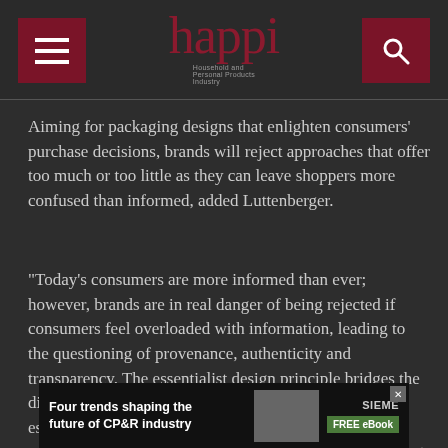happi
Aiming for packaging designs that enlighten consumers' purchase decisions, brands will reject approaches that offer too much or too little as they can leave shoppers more confused than informed, added Luttenberger.
“Today’s consumers are more informed than ever; however, brands are in real danger of being rejected if consumers feel overloaded with information, leading to the questioning of provenance, authenticity and transparency. The essentialist design principle bridges the divide between not enough and just enough of what’s essential for consumers to make an enlightened and confident purchasing decision. Brands must bring the next
[Figure (infographic): Advertisement banner for Siemens: 'Four trends shaping the future of CP&R industry' with FREE eBook button]